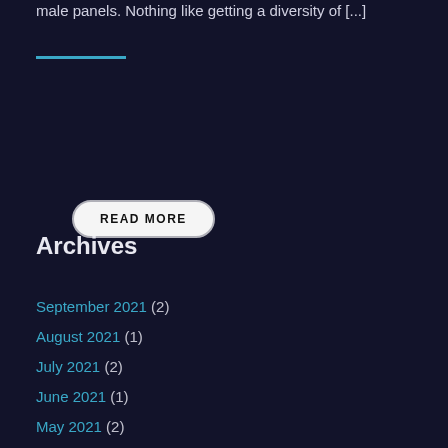male panels. Nothing like getting a diversity of [...]
READ MORE
Archives
September 2021 (2)
August 2021 (1)
July 2021 (2)
June 2021 (1)
May 2021 (2)